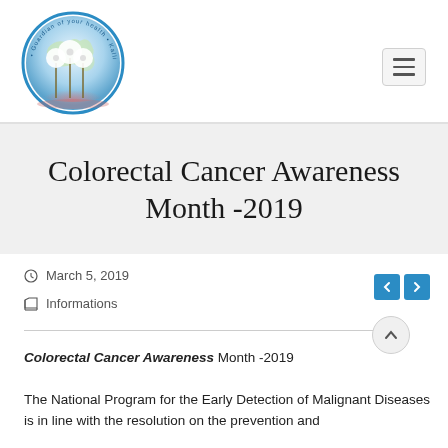[Figure (logo): Circular logo with dandelion flowers and globe, text reading 'Guardian of your health' around the edge]
Colorectal Cancer Awareness Month -2019
Colorectal Cancer Awareness Month -2019
March 5, 2019
Informations
Colorectal Cancer Awareness Month -2019
The National Program for the Early Detection of Malignant Diseases is in line with the resolution on the prevention and